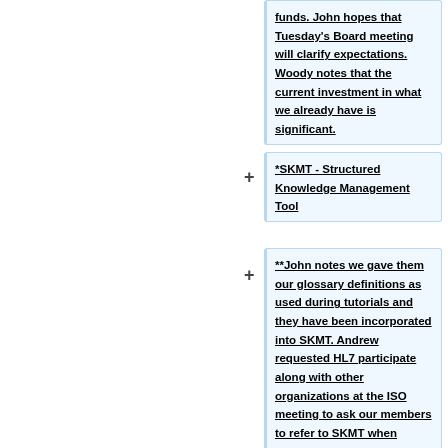funds. John hopes that Tuesday's Board meeting will clarify expectations. Woody notes that the current investment in what we already have is significant.
*SKMT - Structured Knowledge Management Tool
**John notes we gave them our glossary definitions as used during tutorials and they have been incorporated into SKMT. Andrew requested HL7 participate along with other organizations at the ISO meeting to ask our members to refer to SKMT when encountering new concepts or definitions.